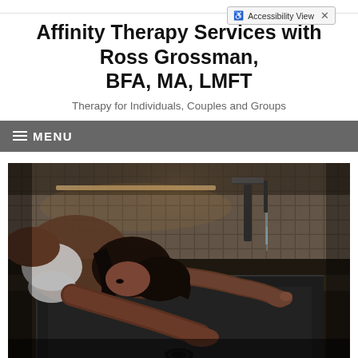Affinity Therapy Services with Ross Grossman, BFA, MA, LMFT
Therapy for Individuals, Couples and Groups
≡ MENU
[Figure (photo): A woman resting her head on a kitchen sink counter, her hair down, looking toward camera. One hand touches a running faucet. Dark moody kitchen setting with tile backsplash and modern black faucet.]